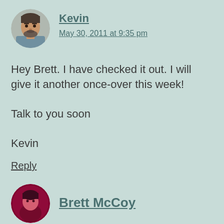Kevin
May 30, 2011 at 9:35 pm
Hey Brett. I have checked it out. I will give it another once-over this week!

Talk to you soon

Kevin
Reply
Brett McCoy